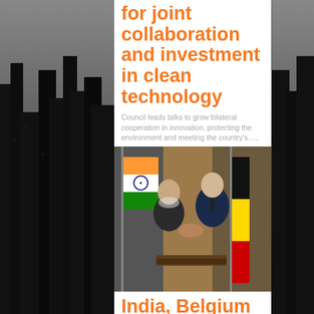for joint collaboration and investment in clean technology
Council leads talks to grow bilateral cooperation in innovation, protecting the environment and meeting the country's…..
[Figure (photo): Two men in suits shaking hands in front of the Indian flag (saffron, white, green with Ashoka Chakra) and the Belgian flag (black, yellow, red). Ornate room backdrop.]
India, Belgium ink